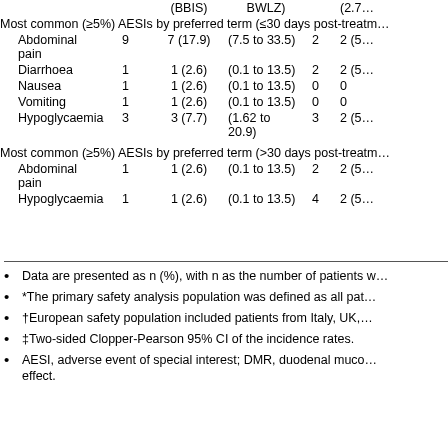| Term | n | n (%) | (95% CI) | n | n (%) |
| --- | --- | --- | --- | --- | --- |
| Most common (≥5%) AESIs by preferred term (≤30 days post-treatm… |  |  |  |  |  |
| Abdominal pain | 9 | 7 (17.9) | (7.5 to 33.5) | 2 | 2 (5… |
| Diarrhoea | 1 | 1 (2.6) | (0.1 to 13.5) | 2 | 2 (5… |
| Nausea | 1 | 1 (2.6) | (0.1 to 13.5) | 0 | 0 |
| Vomiting | 1 | 1 (2.6) | (0.1 to 13.5) | 0 | 0 |
| Hypoglycaemia | 3 | 3 (7.7) | (1.62 to 20.9) | 3 | 2 (5… |
| Most common (≥5%) AESIs by preferred term (>30 days post-treatm… |  |  |  |  |  |
| Abdominal pain | 1 | 1 (2.6) | (0.1 to 13.5) | 2 | 2 (5… |
| Hypoglycaemia | 1 | 1 (2.6) | (0.1 to 13.5) | 4 | 2 (5… |
Data are presented as n (%), with n as the number of patients w…
*The primary safety analysis population was defined as all pat…
†European safety population included patients from Italy, UK,…
‡Two-sided Clopper-Pearson 95% CI of the incidence rates.
AESI, adverse event of special interest; DMR, duodenal muco… effect.